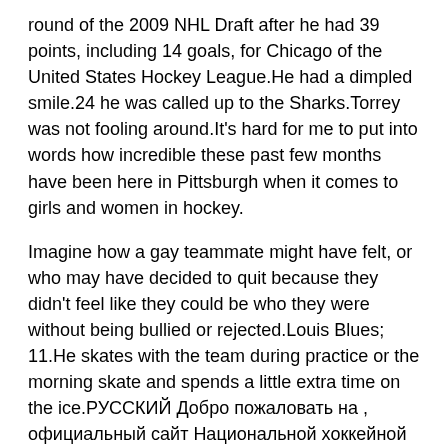round of the 2009 NHL Draft after he had 39 points, including 14 goals, for Chicago of the United States Hockey League.He had a dimpled smile.24 he was called up to the Sharks.Torrey was not fooling around.It's hard for me to put into words how incredible these past few months have been here in Pittsburgh when it comes to girls and women in hockey.
Imagine how a gay teammate might have felt, or who may have decided to quit because they didn't feel like they could be who they were without being bullied or rejected.Louis Blues; 11.He skates with the team during practice or the morning skate and spends a little extra time on the ice.РУССКИЙ Добро пожаловать на , официальный сайт Национальной хоккейной лиги I'm not going to give you my technical secrets, Price said after stopping 28 of 29 shots in a 2 shootout loss at the Vancouver Canucks on Monday.Once, on Nov.